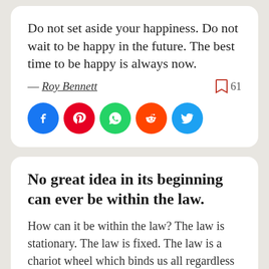Do not set aside your happiness. Do not wait to be happy in the future. The best time to be happy is always now.
— Roy Bennett
[Figure (infographic): Social share buttons: Facebook, Pinterest, WhatsApp, Reddit, Twitter]
No great idea in its beginning can ever be within the law.
How can it be within the law? The law is stationary. The law is fixed. The law is a chariot wheel which binds us all regardless of conditions or place or time.
— Emma Goldman